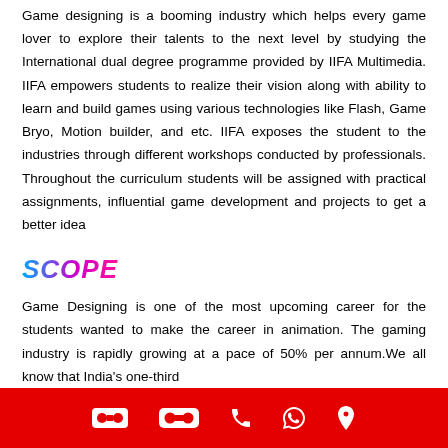Game designing is a booming industry which helps every game lover to explore their talents to the next level by studying the International dual degree programme provided by IIFA Multimedia. IIFA empowers students to realize their vision along with ability to learn and build games using various technologies like Flash, Game Bryo, Motion builder, and etc. IIFA exposes the student to the industries through different workshops conducted by professionals. Throughout the curriculum students will be assigned with practical assignments, influential game development and projects to get a better idea
SCOPE
Game Designing is one of the most upcoming career for the students wanted to make the career in animation. The gaming industry is rapidly growing at a pace of 50% per annum.We all know that India's one-third
[VR icon] [phone icon] [whatsapp icon] [location icon]